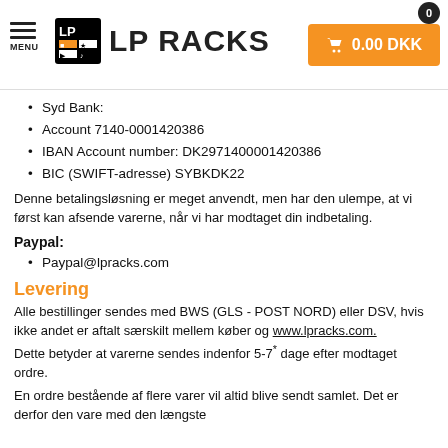LP RACKS — MENU | Cart: 0.00 DKK
Syd Bank:
Account 7140-0001420386
IBAN Account number: DK2971400001420386
BIC (SWIFT-adresse) SYBKDK22
Denne betalingsløsning er meget anvendt, men har den ulempe, at vi først kan afsende varerne, når vi har modtaget din indbetaling.
Paypal:
Paypal@lpracks.com
Levering
Alle bestillinger sendes med BWS (GLS - POST NORD) eller DSV, hvis ikke andet er aftalt særskilt mellem køber og www.lpracks.com. Dette betyder at varerne sendes indenfor 5-7* dage efter modtaget ordre.
En ordre bestående af flere varer vil altid blive sendt samlet. Det er derfor den vare med den længste